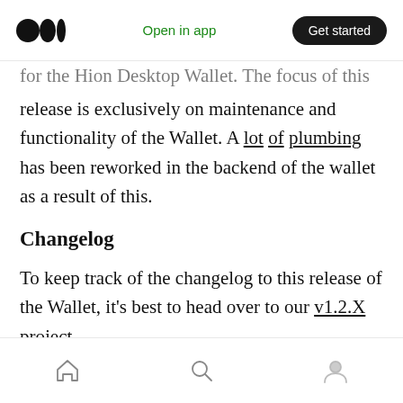Medium logo | Open in app | Get started
for the Hion Desktop Wallet. The focus of this release is exclusively on maintenance and functionality of the Wallet. A lot of plumbing has been reworked in the backend of the wallet as a result of this.
Changelog
To keep track of the changelog to this release of the Wallet, it's best to head over to our v1.2.X project.
In brief:
Home | Search | Profile